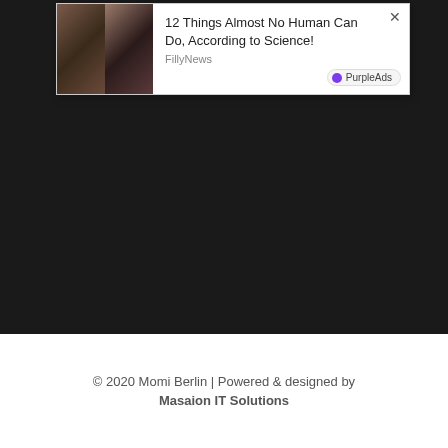[Figure (screenshot): Advertisement popup overlay on a dark webpage background. Shows two thumbnail images of a woman, with ad title '12 Things Almost No Human Can Do, According to Science!' from FillyNews, with a PurpleAds badge and close button X.]
© 2020 Momi Berlin | Powered & designed by Masaion IT Solutions